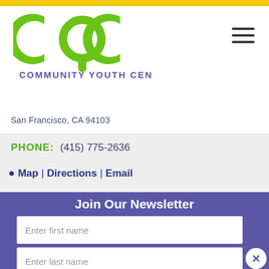[Figure (logo): CYC Community Youth Center logo — large green letters CYC with tagline Community Youth Center in purple below]
San Francisco, CA 94103
PHONE: (415) 775-2636
Map | Directions | Email
Join Our Newsletter
Enter first name
Enter last name
Enter your email
Subscribe